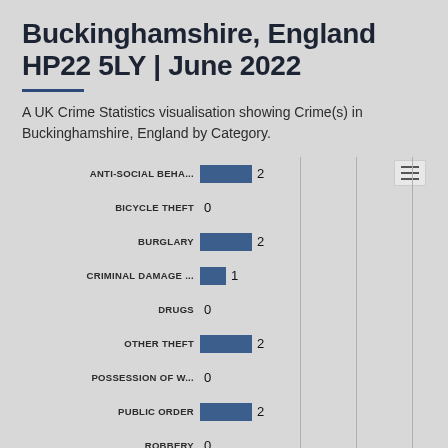Buckinghamshire, England HP22 5LY | June 2022
A UK Crime Statistics visualisation showing Crime(s) in Buckinghamshire, England by Category.
[Figure (bar-chart): Crime by Category - Buckinghamshire, England HP22 5LY | June 2022]